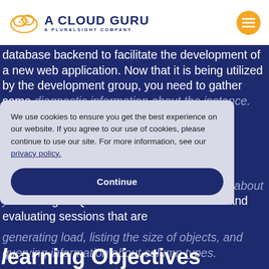[Figure (logo): A Cloud Guru logo — cloud icon in orange and a stylized circuit/network pattern, with text 'A CLOUD GURU' and 'A PLURALSIGHT COMPANY']
database backend to facilitate the development of a new web application. Now that it is being utilized by the development group, you need to gather some diagnostic information about the instance.
Performing these steps will help you become familiar with using psql to gather information about your PostgreSQL installation. This includes monitoring and evaluating sessions that are generating load, listing the size of objects, and querying information about column types.
We use cookies to ensure you get the best experience on our website. If you agree to our use of cookies, please continue to use our site. For more information, see our privacy policy.
Learning Objectives